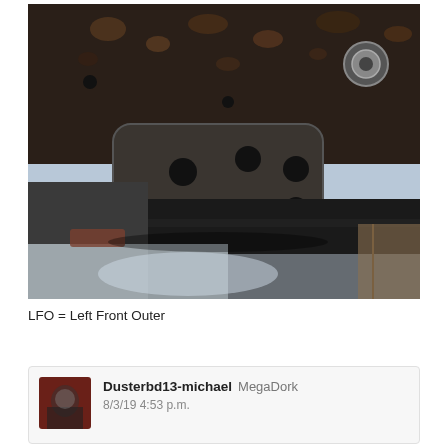[Figure (photo): Underside view of a vehicle suspension/frame area showing a metal plate with multiple drilled holes mounted to the rusted undercarriage, with black body panels visible below and a garage/outdoor background.]
LFO = Left Front Outer
Dusterbd13-michael  MegaDork
8/3/19 4:53 p.m.